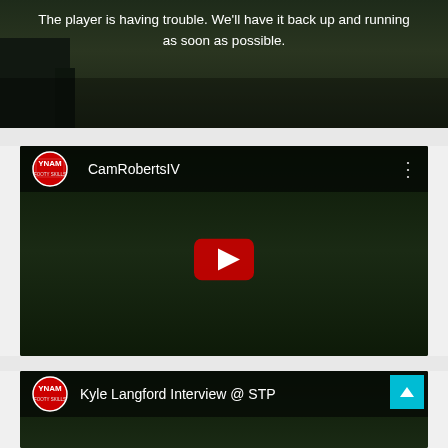[Figure (screenshot): Video player error state with dark background showing legs of football players. White text overlay reads: 'The player is having trouble. We'll have it back up and running as soon as possible.']
[Figure (screenshot): YouTube video embed for 'CamRobertsIV' channel with YNAM Footy Skills logo, showing dark football training scene with red YouTube play button in center.]
[Figure (screenshot): YouTube video embed for 'Kyle Langford Interview @ STP' with YNAM Footy Skills logo. A cyan scroll-to-top button is visible in the top-right area.]